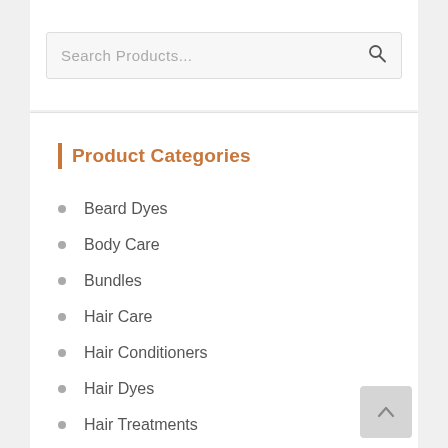Search Products...
Product Categories
Beard Dyes
Body Care
Bundles
Hair Care
Hair Conditioners
Hair Dyes
Hair Treatments